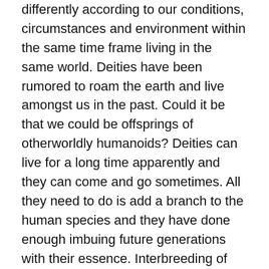differently according to our conditions, circumstances and environment within the same time frame living in the same world. Deities have been rumored to roam the earth and live amongst us in the past. Could it be that we could be offsprings of otherworldly humanoids? Deities can live for a long time apparently and they can come and go sometimes. All they need to do is add a branch to the human species and they have done enough imbuing future generations with their essence. Interbreeding of angels and deities is not a new thing. It has been recorded in biblical times such as the Nephilim who have roamed the earth during those days. Angels and so forth fallen from their realm of life onto earth banished never to return. Living a mortal life with mortal inflictions and problems. All of this speculation of course trying to be as scientific as i possibly can.